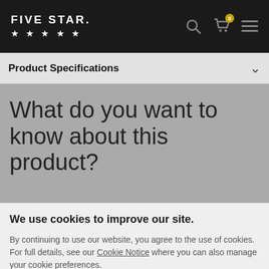FIVE STAR ★★★★★
Product Specifications
What do you want to know about this product?
We use cookies to improve our site.
By continuing to use our website, you agree to the use of cookies. For full details, see our Cookie Notice where you can also manage your cookie preferences.
OK
Cookie Preferences